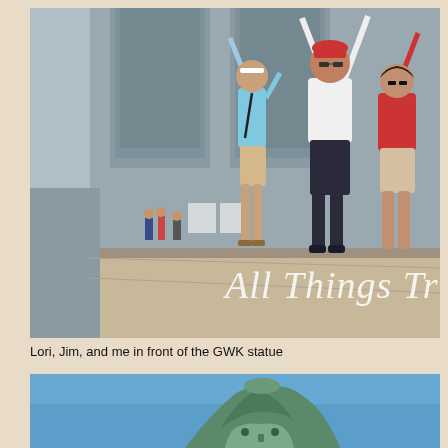[Figure (photo): Three tourists (two women and one man) posing with arms raised in front of the GWK (Garuda Wisnu Kencana) cultural park building. Several other visitors visible in the background. Large modern grey building facade with geometric patterns. Sunny day. Text 'All Things Tr' (partially visible) overlaid on photo in white cursive font.]
Lori, Jim, and me in front of the GWK statue
[Figure (photo): Bottom portion of a large bronze/green GWK (Garuda Wisnu Kencana) statue against a bright blue sky. Only the upper portion of the statue's head and headdress is visible.]